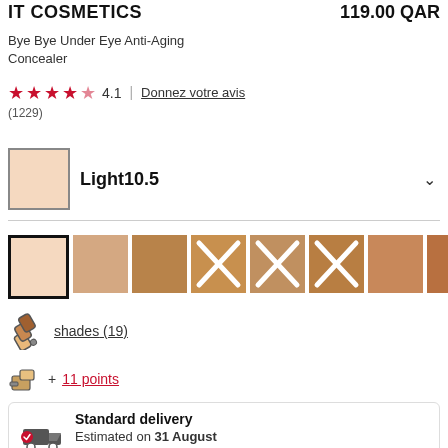IT COSMETICS | 119.00 QAR
Bye Bye Under Eye Anti-Aging Concealer
4.1 (1229) | Donnez votre avis
Light10.5
[Figure (illustration): Row of color swatches: first selected with black border (light peach), followed by tan, medium brown, three with X (out of stock), medium brown, and one partially visible]
shades (19)
+ 11 points
Standard delivery
Estimated on 31 August
Available